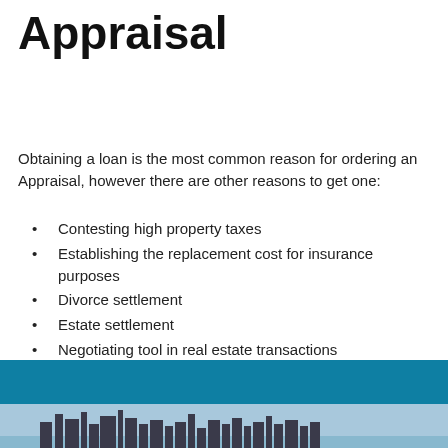Appraisal
Obtaining a loan is the most common reason for ordering an Appraisal, however there are other reasons to get one:
Contesting high property taxes
Establishing the replacement cost for insurance purposes
Divorce settlement
Estate settlement
Negotiating tool in real estate transactions
Determining a reasonable price when selling real estate
Protecting your rights in an eminent domain case
A government agency requirement
A lawsuit
[Figure (photo): City skyline photo with teal/blue background, showing buildings silhouette at the bottom of the page]